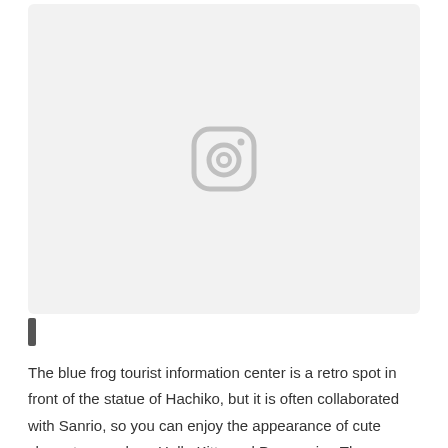[Figure (photo): Placeholder image box with a gray Instagram-style camera icon centered on a light gray background]
The blue frog tourist information center is a retro spot in front of the statue of Hachiko, but it is often collaborated with Sanrio, so you can enjoy the appearance of cute characters such as Hello Kitty and Poppoprine.The